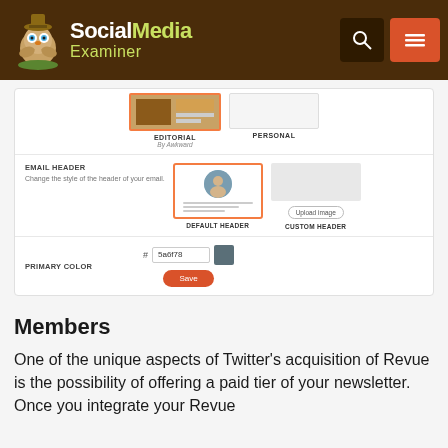[Figure (screenshot): Social Media Examiner website header with owl logo, search icon, and menu icon on brown background]
[Figure (screenshot): Newsletter settings UI showing Editorial and Personal template options, Email Header selection with Default Header and Custom Header, Primary Color field with value 5a6f78, and a Save button]
Members
One of the unique aspects of Twitter’s acquisition of Revue is the possibility of offering a paid tier of your newsletter. Once you integrate your Revue